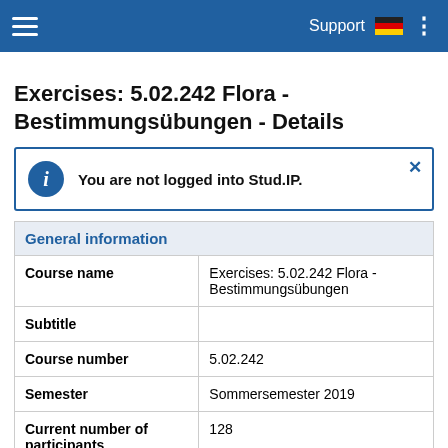Support
Exercises: 5.02.242 Flora - Bestimmungsübungen - Details
You are not logged into Stud.IP.
| General information |  |
| --- | --- |
| Course name | Exercises: 5.02.242 Flora - Bestimmungsübungen |
| Subtitle |  |
| Course number | 5.02.242 |
| Semester | Sommersemester 2019 |
| Current number of participants | 128 |
| expected number of participants | 180 |